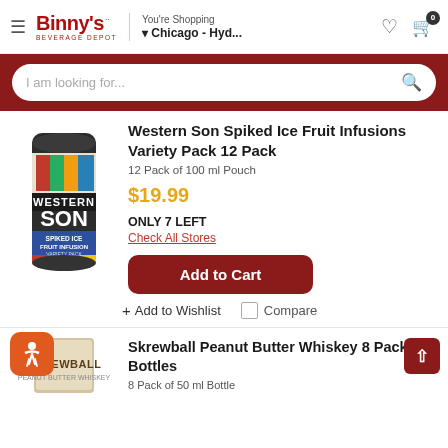Binny's Beverage Depot — You're Shopping — Chicago - Hyd...
I am looking for...
Western Son Spiked Ice Fruit Infusions Variety Pack 12 Pack
12 Pack of 100 ml Pouch
$19.99
ONLY 7 LEFT
Check All Stores
Add to Cart
+ Add to Wishlist
Compare
[Figure (photo): Western Son Spiked Ice Fruit Infusions Variety Pack 12 Pack can]
Skrewball Peanut Butter Whiskey 8 Pack Bottles
8 Pack of 50 ml Bottle
[Figure (photo): Skrewball Peanut Butter Whiskey bottle packaging]